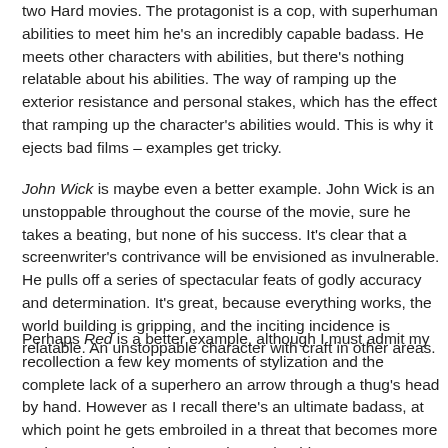two Hard movies. The protagonist is a cop, with superhuman abilities to meet him he's an incredibly capable badass. He meets other characters with abilities, but there's nothing relatable about his abilities. The way of ramping up the exterior resistance and personal stakes, which has the effect that ramping up the character's abilities would. This is why it ejects bad films – examples get tricky.
John Wick is maybe even a better example. John Wick is an unstoppable throughout the course of the movie, sure he takes a beating, but none of his success. It's clear that a screenwriter's contrivance will be envisioned as invulnerable. He pulls off a series of spectacular feats of godly accuracy and determination. It's great, because everything works, the world building is gripping, and the inciting incidence is relatable. An unstoppable character with craft in other areas.
Perhaps Red is a better example, although I must admit my recollection a few key moments of stylization and the complete lack of a superhero an arrow through a thug's head by hand. However as I recall there's an ultimate badass, at which point he gets embroiled in a threat that becomes more and more generic as it goes along. The thing